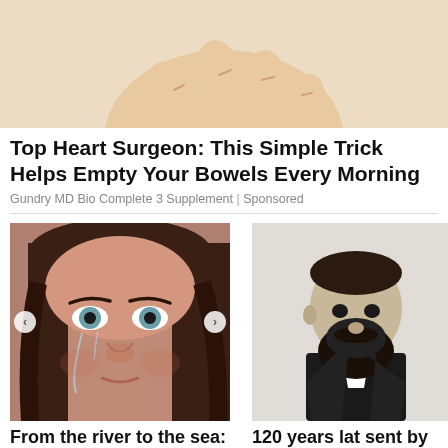[Figure (illustration): Partial illustration of hands, cropped at top of page]
Top Heart Surgeon: This Simple Trick Helps Empty Your Bowels Every Morning
Gundry MD Bio Complete 3 Supplement | Sponsored
[Figure (photo): Close-up photo of a woman with brown hair and tears on her face (Bella Hadid)]
From the river to the sea: Bella Hadid claims to have lost jobs over anti-Israel stan
Ynet News
[Figure (photo): Black and white historical photo of a bearded man in formal attire (Theodor Herzl)]
120 years lat sent by Sigm Herzl
Ynet News